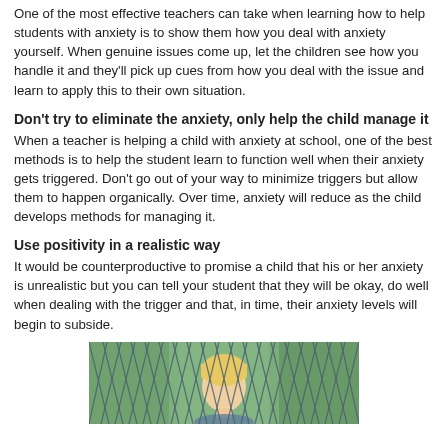One of the most effective teachers can take when learning how to help students with anxiety is to show them how you deal with anxiety yourself. When genuine issues come up, let the children see how you handle it and they'll pick up cues from how you deal with the issue and learn to apply this to their own situation.
Don't try to eliminate the anxiety, only help the child manage it
When a teacher is helping a child with anxiety at school, one of the best methods is to help the student learn to function well when their anxiety gets triggered. Don't go out of your way to minimize triggers but allow them to happen organically. Over time, anxiety will reduce as the child develops methods for managing it.
Use positivity in a realistic way
It would be counterproductive to promise a child that his or her anxiety is unrealistic but you can tell your student that they will be okay, do well when dealing with the trigger and that, in time, their anxiety levels will begin to subside.
[Figure (photo): A young blonde child looking through a chain-link fence, photographed outdoors with a blurred background.]